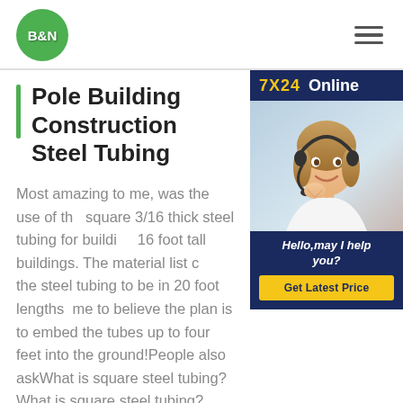[Figure (logo): B&N company logo — green circle with white bold text B&N]
Pole Building Construction Steel Tubing
Most amazing to me, was the use of the square 3/16 thick steel tubing for building 16 foot tall buildings. The material list calls the steel tubing to be in 20 foot lengths, leading me to believe the plan is to embed the tubes up to four feet into the ground!People also askWhat is square steel tubing?What is square steel tubing? Square Steel Tube is a welded structural grade tubing that is available in either type A513 or A500 Grade B...
[Figure (infographic): 7X24 Online support panel with photo of woman wearing headset and text: Hello,may I help you? Get Latest Price button]